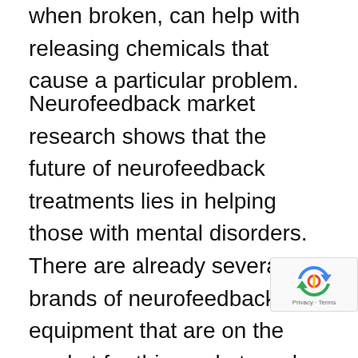when broken, can help with releasing chemicals that cause a particular problem.
Neurofeedback market research shows that the future of neurofeedback treatments lies in helping those with mental disorders. There are already several brands of neurofeedback equipment that are on the market for this market, such as Vestax, Nefrax, and resting comfortably in a recliner. You can purchase these for a low cost or even for free. If you are interested in neurofeedback or other types of relaxation therapy, then it would be wise to look into a product like neurofeedback m research. However, you should always tal your doctor before beginning a new medical